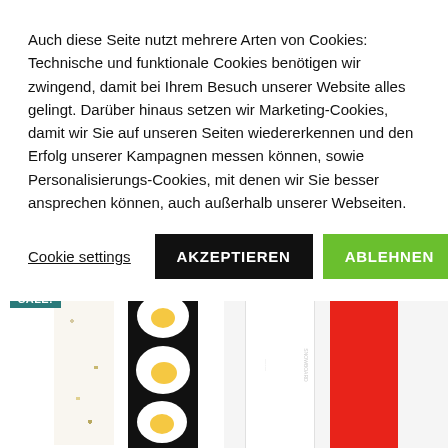Auch diese Seite nutzt mehrere Arten von Cookies: Technische und funktionale Cookies benötigen wir zwingend, damit bei Ihrem Besuch unserer Website alles gelingt. Darüber hinaus setzen wir Marketing-Cookies, damit wir Sie auf unseren Seiten wiedererkennen und den Erfolg unserer Kampagnen messen können, sowie Personalisierungs-Cookies, mit denen wir Sie besser ansprechen können, auch außerhalb unserer Webseiten.
Cookie settings
AKZEPTIEREN
ABLEHNEN
[Figure (photo): Two snowboards side by side: a white board with floral/botanical pattern and a black board with fried egg graphics. A teal 'SALE!' badge is in the top left corner.]
[Figure (photo): Two snowboards side by side: a plain white board and a solid red board.]